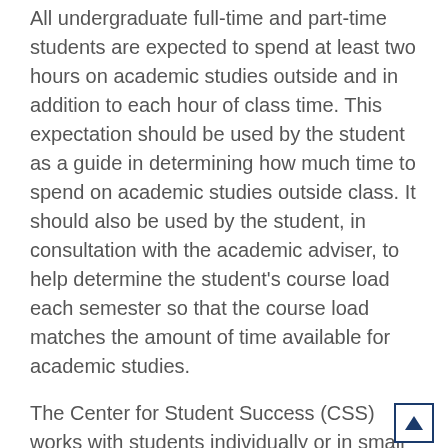All undergraduate full-time and part-time students are expected to spend at least two hours on academic studies outside and in addition to each hour of class time. This expectation should be used by the student as a guide in determining how much time to spend on academic studies outside class. It should also be used by the student, in consultation with the academic adviser, to help determine the student's course load each semester so that the course load matches the amount of time available for academic studies.
The Center for Student Success (CSS) works with students individually or in small groups to assist them to become academically successful. The mission of the CSS is to facilitate and enhance students' academic progress through the University by providing guided access to advisory